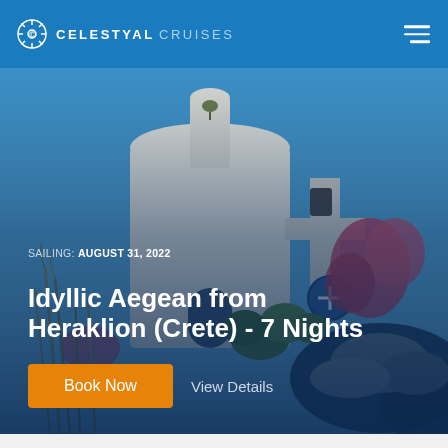CELESTYAL CRUISES
[Figure (photo): Greek island whitewashed chapel with bell tower and blue dome cross, surrounded by bougainvillea flowers and green plants against a blue sky]
SAILING: AUGUST 31, 2022
Idyllic Aegean from Heraklion (Crete) - 7 Nights
Book Now
View Details